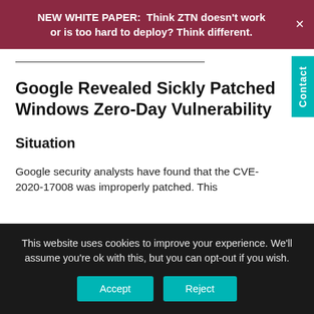NEW WHITE PAPER:  Think ZTN doesn't work or is too hard to deploy? Think different.
Google Revealed Sickly Patched Windows Zero-Day Vulnerability
Situation
Google security analysts have found that the CVE-2020-17008 was improperly patched. This
This website uses cookies to improve your experience. We'll assume you're ok with this, but you can opt-out if you wish.